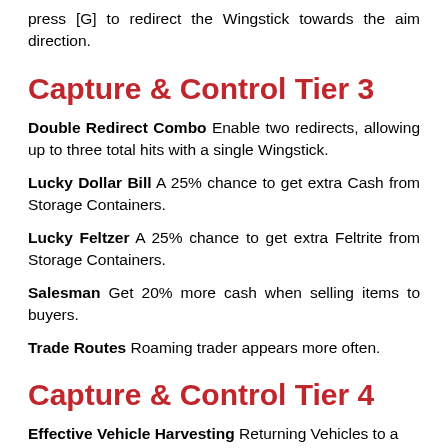press [G] to redirect the Wingstick towards the aim direction.
Capture & Control Tier 3
Double Redirect Combo Enable two redirects, allowing up to three total hits with a single Wingstick.
Lucky Dollar Bill A 25% chance to get extra Cash from Storage Containers.
Lucky Feltzer A 25% chance to get extra Feltrite from Storage Containers.
Salesman Get 20% more cash when selling items to buyers.
Trade Routes Roaming trader appears more often.
Capture & Control Tier 4
Effective Vehicle Harvesting Returning Vehicles to a